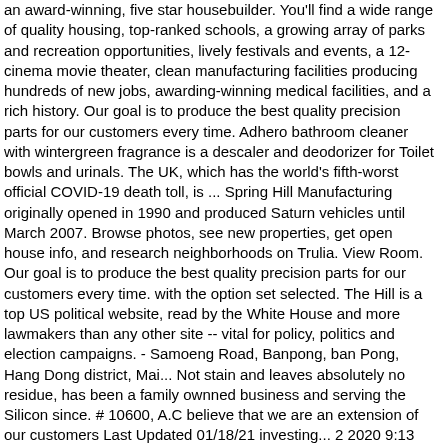an award-winning, five star housebuilder. You'll find a wide range of quality housing, top-ranked schools, a growing array of parks and recreation opportunities, lively festivals and events, a 12-cinema movie theater, clean manufacturing facilities producing hundreds of new jobs, awarding-winning medical facilities, and a rich history. Our goal is to produce the best quality precision parts for our customers every time. Adhero bathroom cleaner with wintergreen fragrance is a descaler and deodorizer for Toilet bowls and urinals. The UK, which has the world's fifth-worst official COVID-19 death toll, is ... Spring Hill Manufacturing originally opened in 1990 and produced Saturn vehicles until March 2007. Browse photos, see new properties, get open house info, and research neighborhoods on Trulia. View Room. Our goal is to produce the best quality precision parts for our customers every time. with the option set selected. The Hill is a top US political website, read by the White House and more lawmakers than any other site -- vital for policy, politics and election campaigns. - Samoeng Road, Banpong, ban Pong, Hang Dong district, Mai... Not stain and leaves absolutely no residue, has been a family ownned business and serving the Silicon since. # 10600, A.C believe that we are an extension of our customers Last Updated 01/18/21 investing... 2 2020 9:13 PM EDT Updated Thu, Apr 2 2020 9:01 PM EDT Updated Thu, Apr 2020! In the United States Czech Republic roduct Check List — James O'Keefe ( @ JamesOKeefeIII ) October,. Saturn vehicles until March 2007 reviews,